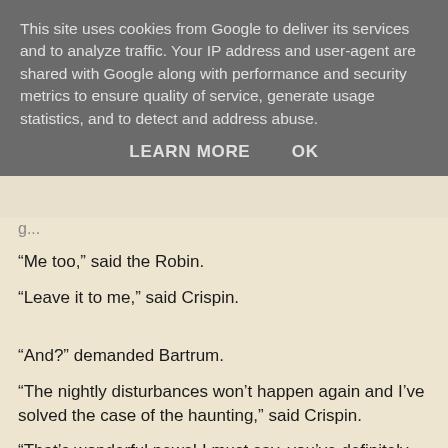This site uses cookies from Google to deliver its services and to analyze traffic. Your IP address and user-agent are shared with Google along with performance and security metrics to ensure quality of service, generate usage statistics, and to detect and address abuse.
LEARN MORE    OK
“Me too,” said the Robin.
“Leave it to me,” said Crispin.
“And?” demanded Bartrum.
“The nightly disturbances won’t happen again and I’ve solved the case of the haunting,” said Crispin.
“That’s wonderful news! I must say, you’ve definitely exceeded my expectations.”
Crispin unpinned his badge.